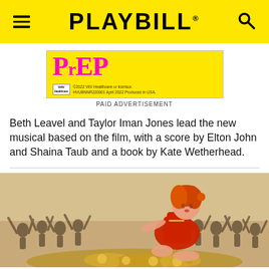PLAYBILL
[Figure (other): PrEP advertisement on yellow background with pink bold text reading PrEP, ViiV logo, copyright 2022 ViiV Healthcare or licensor. HVUBNNR220001 April 2022 Produced in USA. PAID ADVERTISEMENT label below.]
Beth Leavel and Taylor Iman Jones lead the new musical based on the film, with a score by Elton John and Shaina Taub and a book by Kate Wetherhead.
[Figure (illustration): Vintage illustration of a woman with red/orange hair in a red dress seated on a pile of gold coins and money, surrounded by a crowd of cheering people in black and white in the background.]